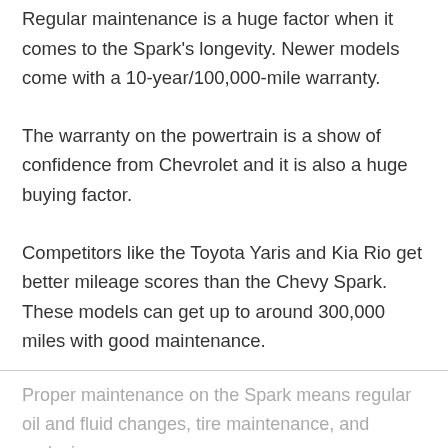Regular maintenance is a huge factor when it comes to the Spark's longevity. Newer models come with a 10-year/100,000-mile warranty.
The warranty on the powertrain is a show of confidence from Chevrolet and it is also a huge buying factor.
Competitors like the Toyota Yaris and Kia Rio get better mileage scores than the Chevy Spark. These models can get up to around 300,000 miles with good maintenance.
Proper maintenance on the Spark means regular oil and fluid changes, tire maintenance, and replacing,